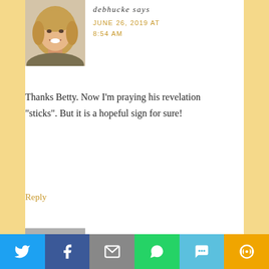[Figure (photo): Profile photo of debhucke, a smiling woman with blonde hair wearing a brown/olive top]
debhucke says
JUNE 26, 2019 AT 8:54 AM
Thanks Betty. Now I'm praying his revelation “sticks”. But it is a hopeful sign for sure!
Reply
[Figure (photo): Partial profile photo of joan clawson, grey placeholder image]
joan clawson says